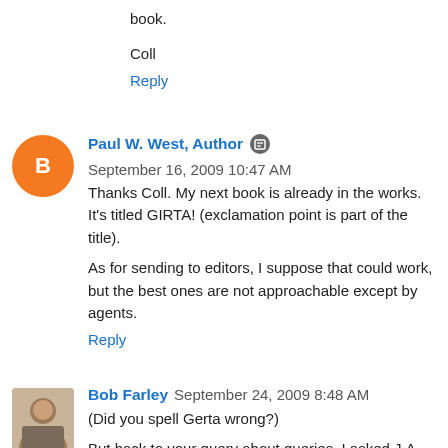book.
Coll
Reply
Paul W. West, Author  September 16, 2009 10:47 AM
Thanks Coll. My next book is already in the works. It's titled GIRTA! (exclamation point is part of the title).
As for sending to editors, I suppose that could work, but the best ones are not approachable except by agents.
Reply
Bob Farley  September 24, 2009 8:48 AM
(Did you spell Gerta wrong?)
But back to your query about queries, I asked J.A. Konrath awhile back about whether all his 500 rejections were from different agents and he said yes. There are only finally